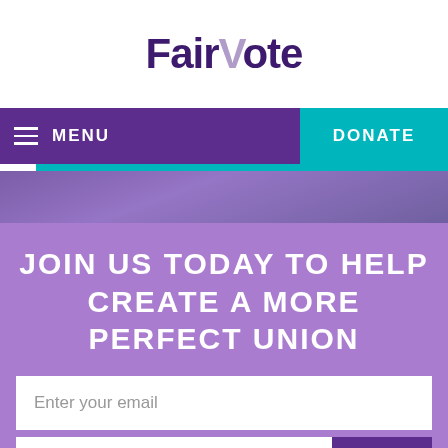[Figure (logo): FairVote logo in dark purple with stylized V in lighter purple]
MENU   DONATE
[Figure (photo): Purple toned background image, partially visible]
JOIN US TODAY TO HELP CREATE A MORE PERFECT UNION
[Figure (screenshot): Email input field with placeholder 'Enter your email']
[Figure (screenshot): Zip code input field and purple submit arrow button]
[Figure (logo): FairVote footer logo in white and light purple on dark background]